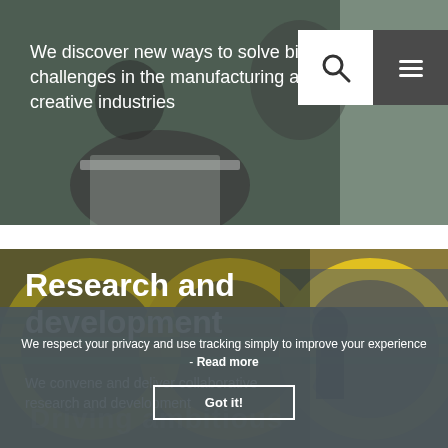[Figure (photo): Hero banner with two people working on laptops, navigation bar with search and hamburger menu icons]
We discover new ways to solve big challenges in the manufacturing and creative industries
[Figure (photo): Industrial manufacturing photo showing large yellow circular ring structures in a factory with a worker visible]
Research and development
We convene and deliver collaborative research and development
We respect your privacy and use tracking simply to improve your experience - Read more
Got it!
Driving ambitious